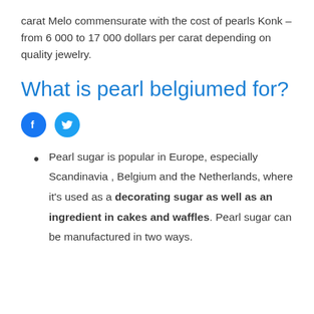carat Melo commensurate with the cost of pearls Konk – from 6 000 to 17 000 dollars per carat depending on quality jewelry.
What is pearl belgiumed for?
[Figure (other): Social media share icons: Facebook (blue circle with f) and Twitter (blue circle with bird)]
Pearl sugar is popular in Europe, especially Scandinavia , Belgium and the Netherlands, where it's used as a decorating sugar as well as an ingredient in cakes and waffles. Pearl sugar can be manufactured in two ways.